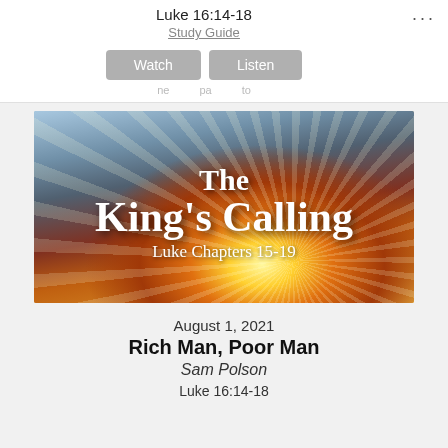Luke 16:14-18
Study Guide
[Figure (screenshot): Two buttons: Watch and Listen]
[Figure (photo): Dramatic sky with sunbeams and text overlay reading 'The King's Calling, Luke Chapters 15-19']
August 1, 2021
Rich Man, Poor Man
Sam Polson
Luke 16:14-18